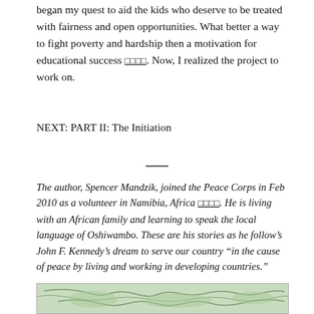began my quest to aid the kids who deserve to be treated with fairness and open opportunities. What better a way to fight poverty and hardship then a motivation for educational success □□□□. Now, I realized the project to work on.
NEXT: PART II: The Initiation
The author, Spencer Mandzik, joined the Peace Corps in Feb 2010 as a volunteer in Namibia, Africa □□□□. He is living with an African family and learning to speak the local language of Oshiwambo. These are his stories as he follow’s John F. Kennedy’s dream to serve our country “in the cause of peace by living and working in developing countries.”
[Figure (map): Partial view of a map, likely showing Africa region]